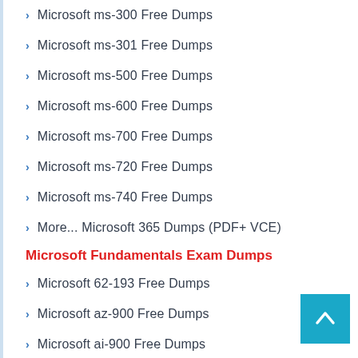Microsoft ms-300 Free Dumps
Microsoft ms-301 Free Dumps
Microsoft ms-500 Free Dumps
Microsoft ms-600 Free Dumps
Microsoft ms-700 Free Dumps
Microsoft ms-720 Free Dumps
Microsoft ms-740 Free Dumps
More... Microsoft 365 Dumps (PDF+ VCE)
Microsoft Fundamentals Exam Dumps
Microsoft 62-193 Free Dumps
Microsoft az-900 Free Dumps
Microsoft ai-900 Free Dumps
Microsoft dp-900 Free Dumps
Microsoft mb-901 Free Dumps
Microsoft fc-900 Free Dumps